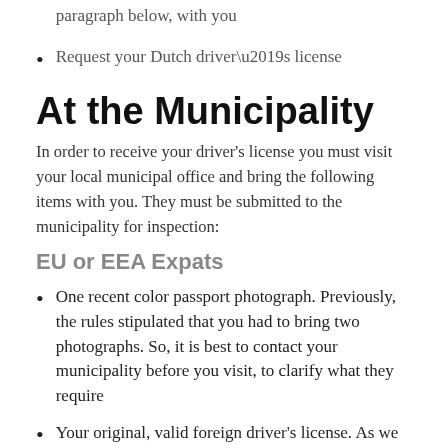paragraph below, with you
Request your Dutch driver’s license
At the Municipality
In order to receive your driver’s license you must visit your local municipal office and bring the following items with you. They must be submitted to the municipality for inspection:
EU or EEA Expats
One recent color passport photograph. Previously, the rules stipulated that you had to bring two photographs. So, it is best to contact your municipality before you visit, to clarify what they require
Your original, valid foreign driver’s license. As we mentioned above, licenses from the EU or the EEA that have expired may be exchanged. For this to be